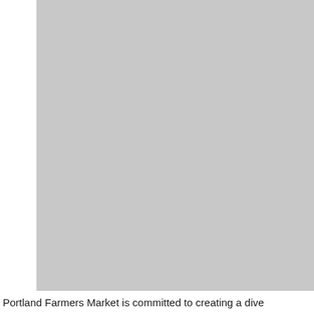[Figure (photo): Large gray/silver rectangular image placeholder occupying most of the page above the caption text.]
Portland Farmers Market is committed to creating a dive